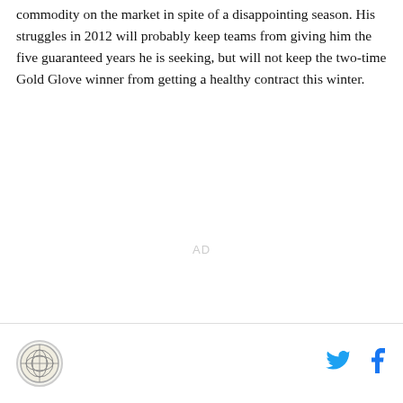commodity on the market in spite of a disappointing season. His struggles in 2012 will probably keep teams from giving him the five guaranteed years he is seeking, but will not keep the two-time Gold Glove winner from getting a healthy contract this winter.
AD
[logo] [Twitter icon] [Facebook icon]